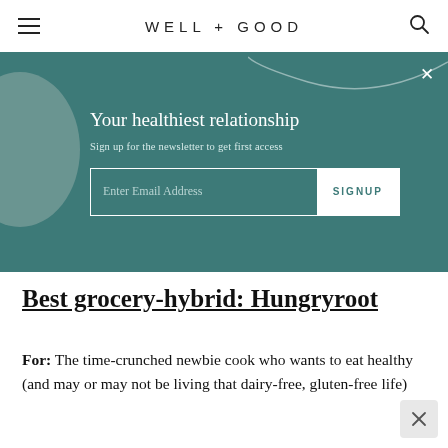WELL+GOOD
[Figure (screenshot): Newsletter signup banner with teal background, decorative circle and curve, email input field and SIGNUP button. Title: 'Your healthiest relationship'. Subtitle: 'Sign up for the newsletter to get first access'.]
Best grocery-hybrid: Hungryroot
For: The time-crunched newbie cook who wants to eat healthy (and may or may not be living that dairy-free, gluten-free life)